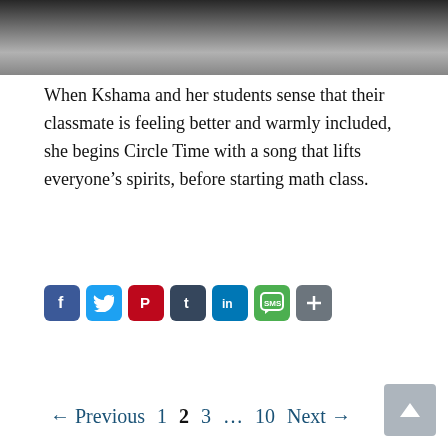[Figure (photo): Black and white photo of people (partially visible at top of page), cropped to show only the lower portion.]
When Kshama and her students sense that their classmate is feeling better and warmly included, she begins Circle Time with a song that lifts everyone’s spirits, before starting math class.
[Figure (infographic): Social sharing icons row: Facebook (blue), Twitter (light blue), Pinterest (red), Tumblr (dark blue-grey), LinkedIn (blue), SMS (green with speech bubble), More/Share (grey with plus sign).]
← Previous  1  2  3  …  10  Next →